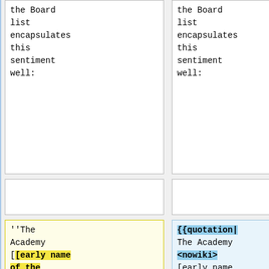the Board list encapsulates this sentiment well:
the Board list encapsulates this sentiment well:
''The Academy [[early name of the BPFK|early name of the BPFK]] is charged with the creation of short position statements, which should at least
{{quotation| The Academy <nowiki> [early name of the BPFK] </nowiki> is charged with the creation of short position statements, which should at least serve as a